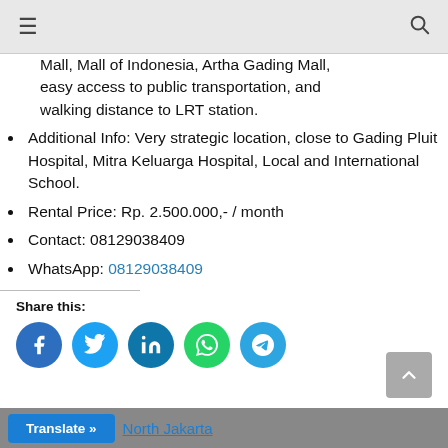≡   🔍
Mall, Mall of Indonesia, Artha Gading Mall, easy access to public transportation, and walking distance to LRT station.
Additional Info: Very strategic location, close to Gading Pluit Hospital, Mitra Keluarga Hospital, Local and International School.
Rental Price: Rp. 2.500.000,- / month
Contact: 08129038409
WhatsApp: 08129038409
Share this:
[Figure (infographic): Social share buttons: Facebook, Twitter, LinkedIn, WhatsApp, Telegram]
Translate »   North Jakarta